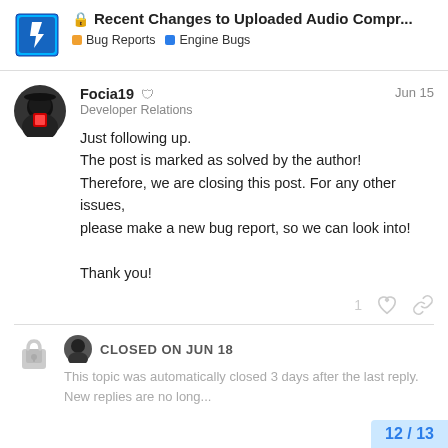🔒 Recent Changes to Uploaded Audio Compr... | Bug Reports | Engine Bugs
Focia19 🛡 Developer Relations Jun 15
Just following up.
The post is marked as solved by the author!
Therefore, we are closing this post. For any other issues, please make a new bug report, so we can look into!

Thank you!
CLOSED ON JUN 18
This topic was automatically closed 3 days after the last reply. New replies are no long...
12 / 13